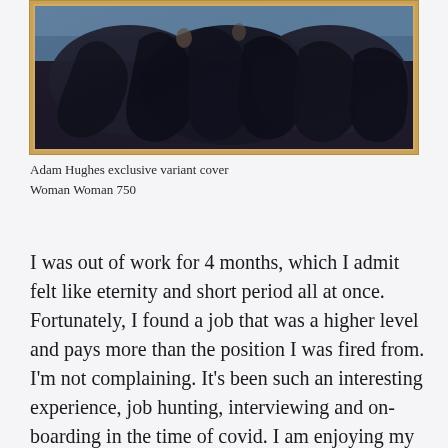[Figure (photo): A dark classical painting in a golden/wooden frame with a transparent protective cover. The painting depicts multiple dark-robed figures grouped together, with a bluish sky in the background.]
Adam Hughes exclusive variant cover Woman Woman 750
I was out of work for 4 months, which I admit felt like eternity and short period all at once. Fortunately, I found a job that was a higher level and pays more than the position I was fired from. I'm not complaining. It's been such an interesting experience, job hunting, interviewing and on-boarding in the time of covid. I am enjoying my work days, so happy to